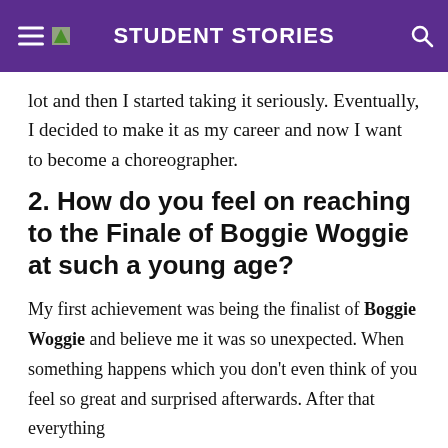STUDENT STORIES
lot and then I started taking it seriously. Eventually, I decided to make it as my career and now I want to become a choreographer.
2. How do you feel on reaching to the Finale of Boggie Woggie at such a young age?
My first achievement was being the finalist of Boggie Woggie and believe me it was so unexpected. When something happens which you don't even think of you feel so great and surprised afterwards. After that everything